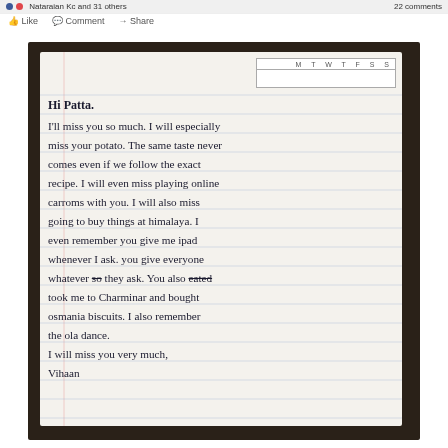Nataraian Kc and 31 others   22 comments   Like  Comment  Share
[Figure (photo): A handwritten letter on ruled notebook paper placed on a dark surface. The letter is written in a child's handwriting and reads: Hi Patta. I'll miss you so much. I will especially miss your potato. The same taste never comes even if we follow the exact recipe. I will even miss playing online carroms with you. I will also miss going to buy things at himalaya. I even remember you give me ipad whenever I ask. you give everyone whatever they ask. You also took me to Charminar and bought osmania biscuits. I also remember the ola dance. I will miss you very much, Vihaan. There is a calendar header grid at the top right of the paper showing M T W T F S S.]